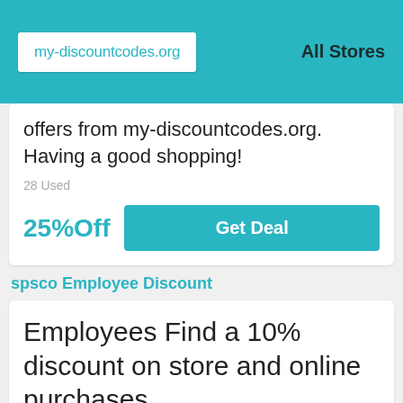my-discountcodes.org | All Stores
offers from my-discountcodes.org. Having a good shopping!
28 Used
25%Off
Get Deal
spsco Employee Discount
Employees Find a 10% discount on store and online purchases
Employees also save with store...